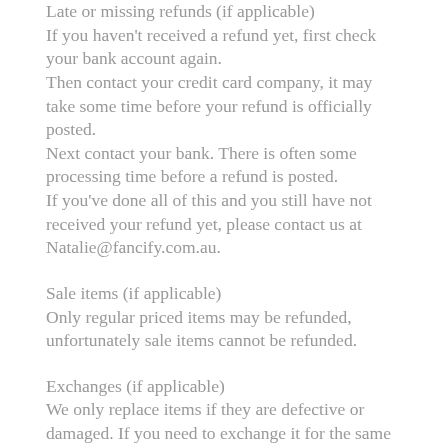Late or missing refunds (if applicable)
If you haven't received a refund yet, first check your bank account again.
Then contact your credit card company, it may take some time before your refund is officially posted.
Next contact your bank. There is often some processing time before a refund is posted.
If you've done all of this and you still have not received your refund yet, please contact us at Natalie@fancify.com.au.
Sale items (if applicable)
Only regular priced items may be refunded, unfortunately sale items cannot be refunded.
Exchanges (if applicable)
We only replace items if they are defective or damaged. If you need to exchange it for the same